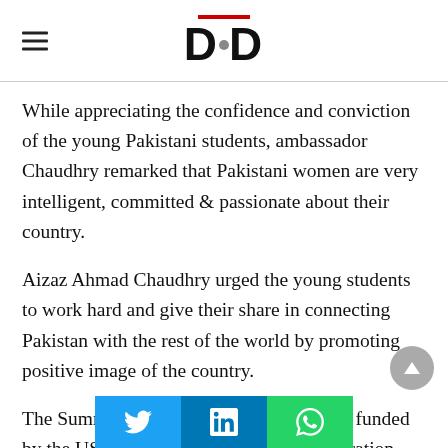DND
While appreciating the confidence and conviction of the young Pakistani students, ambassador Chaudhry remarked that Pakistani women are very intelligent, committed & passionate about their country.
Aizaz Ahmad Chaudhry urged the young students to work hard and give their share in connecting Pakistan with the rest of the world by promoting positive image of the country.
The Summer Sisters Exchange program is funded by the US Embassy in Pakistan in collaboration with various